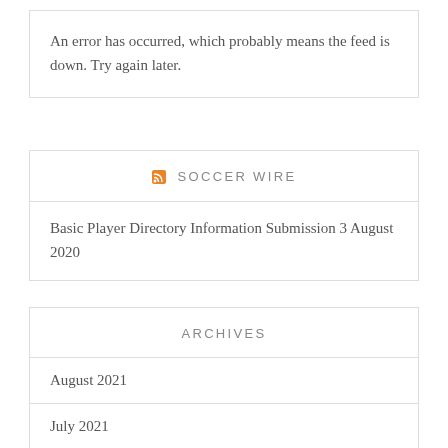An error has occurred, which probably means the feed is down. Try again later.
SOCCER WIRE
Basic Player Directory Information Submission 3 August 2020
ARCHIVES
August 2021
July 2021